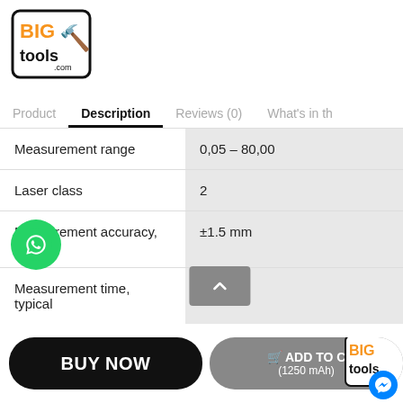[Figure (logo): BIG tools X logo with orange and black text and hammer icons]
Product  Description  Reviews (0)  What's in th
| Measurement range | 0,05 – 80,00 |
| Laser class | 2 |
| Measurement accuracy, typical | ±1.5 mm |
| Measurement time, typical | < 0.5 s |
| Measurement time, max. | 4 s |
[Figure (logo): WhatsApp green circle chat button]
[Figure (other): Scroll to top button with upward caret]
BUY NOW
1 x 🛒 ADD TO C... (1250 mAh)